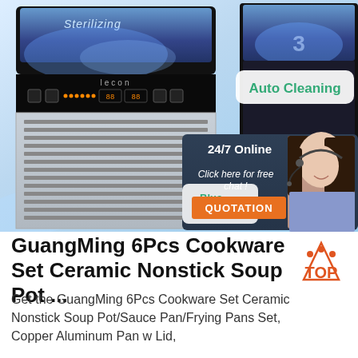[Figure (photo): Product listing screenshot showing an ice maker machine with blue sterilizing light, auto cleaning callout, 24/7 online chat widget with a customer service representative wearing a headset, and a QUOTATION button. Right side shows another ice maker unit.]
GuangMing 6Pcs Cookware Set Ceramic Nonstick Soup Pot ...
Get the GuangMing 6Pcs Cookware Set Ceramic Nonstick Soup Pot/Sauce Pan/Frying Pans Set, Copper Aluminum Pan w Lid,